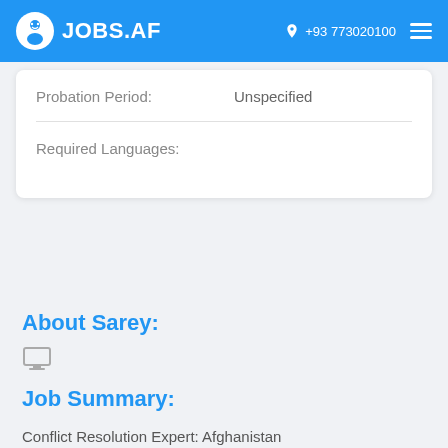JOBS.AF | +93 773020100
| Probation Period: | Unspecified |
| Required Languages: |  |
About Sarey:
[Figure (illustration): Monitor/computer screen icon in grey]
Job Summary:
Conflict Resolution Expert: Afghanistan